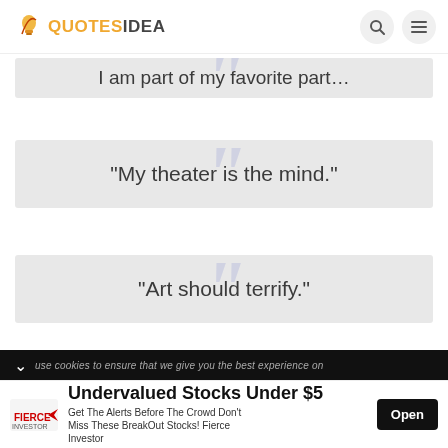QUOTESIDEA
“I am part of my favorite part…” (partial, cropped)
“My theater is the mind.”
“Art should terrify.”
use cookies to ensure that we give you the best experience on
Undervalued Stocks Under $5
Get The Alerts Before The Crowd Don’t Miss These BreakOut Stocks! Fierce Investor